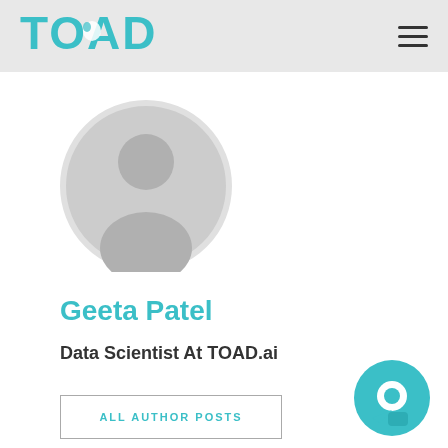TOAD
[Figure (illustration): Circular avatar placeholder with grey silhouette of a person on light grey background]
Geeta Patel
Data Scientist At TOAD.ai
ALL AUTHOR POSTS
[Figure (logo): Teal circular chat bubble icon in bottom right corner]